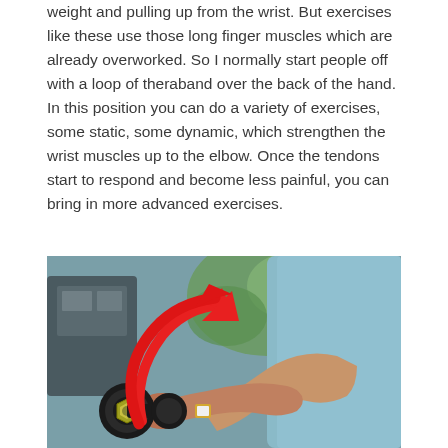weight and pulling up from the wrist.  But exercises like these use those long finger muscles which are already overworked.  So I normally start people off with a loop of theraband over the back of the hand.  In this position you can do a variety of exercises, some static, some dynamic, which strengthen the wrist muscles up to the elbow.  Once the tendons start to respond and become less painful, you can bring in more advanced exercises.
[Figure (photo): A person holding a dumbbell with a red curved arrow pointing upward toward the weight, indicating a wrist/forearm exercise. The photo is taken outdoors with foliage in the background.]